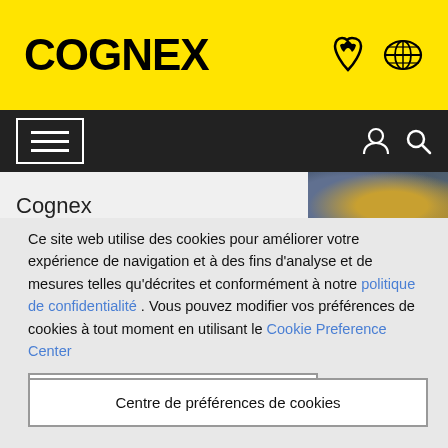[Figure (logo): Cognex logo in black bold text on yellow background with phone icon and world map icon on the right]
[Figure (screenshot): Black navigation bar with hamburger menu icon on left, user and search icons on right]
Cognex
[Figure (photo): Photo of industrial equipment with yellow Cognex device]
Ce site web utilise des cookies pour améliorer votre expérience de navigation et à des fins d'analyse et de mesures telles qu'décrites et conformément à notre politique de confidentialité . Vous pouvez modifier vos préférences de cookies à tout moment en utilisant le Cookie Preference Center
Accepter tous les cookies
Centre de préférences de cookies